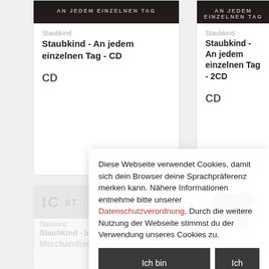Staubkind
Staubkind - An jedem einzelnen Tag - CD
CD
Staubkind
Staubkind - An jedem einzelnen Tag - 2CD
CD
Diese Webseite verwendet Cookies, damit sich dein Browser deine Sprachpräferenz merken kann. Nähere Informationen entnehme bitte unserer Datenschutzverordnung. Durch die weitere Nutzung der Webseite stimmst du der Verwendung unseres Cookies zu.
Ich bin einverstanden
Ich lehne ab
Staubkind - Ich bin ein Staubkind
Merchandise
Staubkind - Wunder - Girlie Shirt
Merchandise